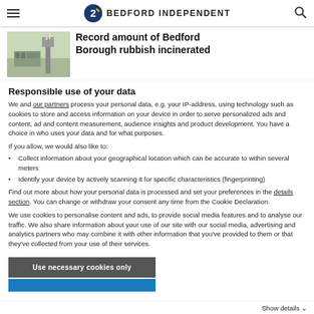BEDFORD INDEPENDENT
Record amount of Bedford Borough rubbish incinerated
[Figure (photo): Exterior photo of an industrial incineration facility with a chimney stack in a flat landscape]
Responsible use of your data
We and our partners process your personal data, e.g. your IP-address, using technology such as cookies to store and access information on your device in order to serve personalized ads and content, ad and content measurement, audience insights and product development. You have a choice in who uses your data and for what purposes.
If you allow, we would also like to:
Collect information about your geographical location which can be accurate to within several meters
Identify your device by actively scanning it for specific characteristics (fingerprinting)
Find out more about how your personal data is processed and set your preferences in the details section. You can change or withdraw your consent any time from the Cookie Declaration.
We use cookies to personalise content and ads, to provide social media features and to analyse our traffic. We also share information about your use of our site with our social media, advertising and analytics partners who may combine it with other information that you've provided to them or that they've collected from your use of their services.
Use necessary cookies only
Show details